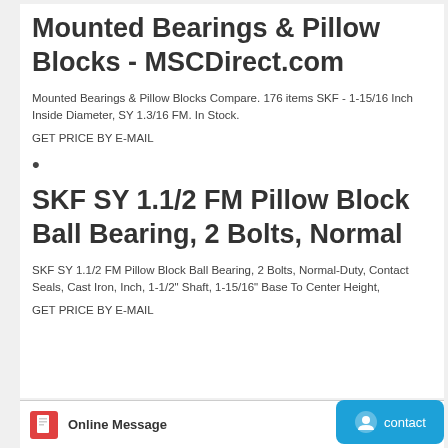Mounted Bearings & Pillow Blocks - MSCDirect.com
Mounted Bearings & Pillow Blocks Compare. 176 items SKF - 1-15/16 Inch Inside Diameter, SY 1.3/16 FM. In Stock.
GET PRICE BY E-MAIL
•
SKF SY 1.1/2 FM Pillow Block Ball Bearing, 2 Bolts, Normal
SKF SY 1.1/2 FM Pillow Block Ball Bearing, 2 Bolts, Normal-Duty, Contact Seals, Cast Iron, Inch, 1-1/2" Shaft, 1-15/16" Base To Center Height,
GET PRICE BY E-MAIL
Online Message